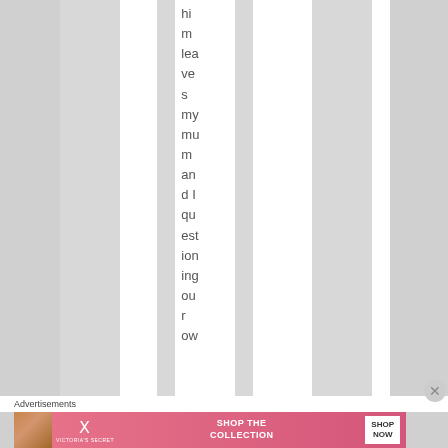him leaves my mum and I questioning our row
Advertisements
[Figure (other): Victoria's Secret advertisement banner: 'SHOP THE COLLECTION' with SHOP NOW button]